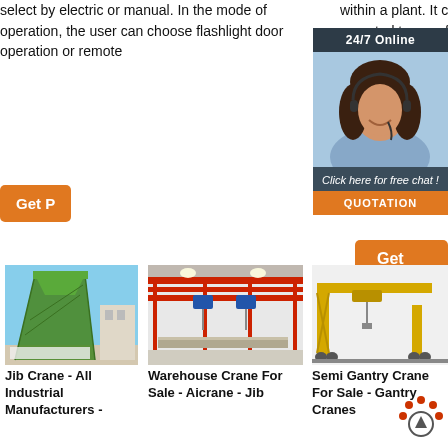within a plant. It can be mounted to your facility floor foundation column pillar or wall to accommodate any space constraints or work plans.
select by electric or manual. In the mode of operation, the user can choose flashlight door operation or remote
[Figure (other): 24/7 Online chat widget with support agent photo, 'Click here for free chat!' text, and QUOTATION button]
[Figure (photo): Green jib crane structure against blue sky at industrial facility]
[Figure (photo): Interior of warehouse with red overhead crane rails and blue hoists]
[Figure (photo): Yellow semi-gantry crane]
Jib Crane - All Industrial Manufacturers -
Warehouse Crane For Sale - Aicrane - Jib
Semi Gantry Crane For Sale - Gantry Cranes